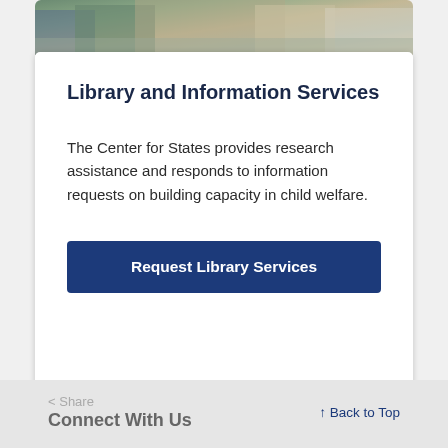[Figure (photo): Partial photo of people at a kitchen counter, cropped at top]
Library and Information Services
The Center for States provides research assistance and responds to information requests on building capacity in child welfare.
Request Library Services
< Share   Connect With Us   Back to Top